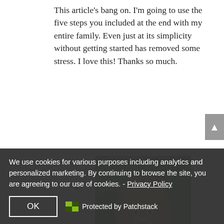This article's bang on. I'm going to use the five steps you included at the end with my entire family. Even just at its simplicity without getting started has removed some stress. I love this! Thanks so much.
[Figure (photo): Profile photo of a woman with blonde hair smiling outdoors with green foliage background]
Jacqueline Sinfield on at 4:09 pm
Hi Leanne! What a great idea to use the tips with your whole family!! awesome idea. Love to hear an update on how it is going.
We use cookies for various purposes including analytics and personalized marketing. By continuing to browse the site, you are agreeing to our use of cookies. - Privacy Policy
OK
Protected by Patchstack